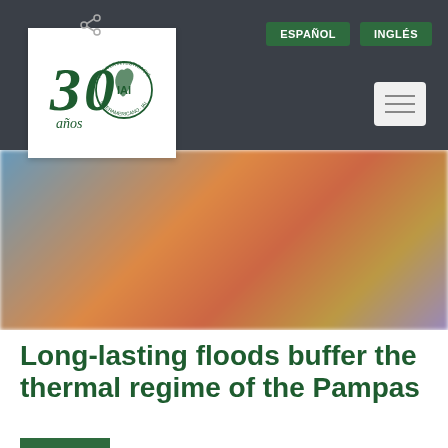[Figure (logo): IAI 30 años logo - Inter-American Institute for Global Change Research, 30th anniversary logo with globe and stylized '30 años' text]
ESPAÑOL   INGLÉS
[Figure (photo): Blurred colorful background photo, appears to show people or objects with blue, orange, and red tones]
Long-lasting floods buffer the thermal regime of the Pampas